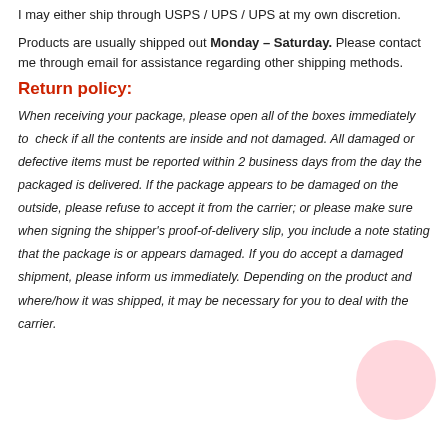I may either ship through USPS / UPS / UPS at my own discretion.
Products are usually shipped out Monday – Saturday. Please contact me through email for assistance regarding other shipping methods.
Return policy:
When receiving your package, please open all of the boxes immediately to  check if all the contents are inside and not damaged. All damaged or defective items must be reported within 2 business days from the day the packaged is delivered. If the package appears to be damaged on the outside, please refuse to accept it from the carrier; or please make sure when signing the shipper's proof-of-delivery slip, you include a note stating that the package is or appears damaged. If you do accept a damaged shipment, please inform us immediately. Depending on the product and where/how it was shipped, it may be necessary for you to deal with the carrier.